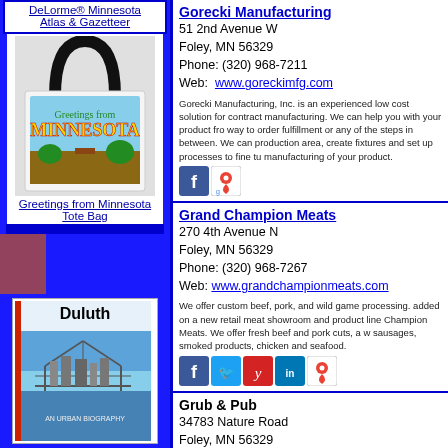DeLorme® Minnesota Atlas & Gazetteer
[Figure (photo): Minnesota tote bag with colorful Greetings from Minnesota typography design]
Greetings from Minnesota Tote Bag
[Figure (photo): Duluth: An Urban Biography book cover showing aerial view of Duluth bridge]
Gorecki Manufacturing
51 2nd Avenue W
Foley, MN 56329
Phone: (320) 968-7211
Web: www.goreckimfg.com
Gorecki Manufacturing, Inc. is an experienced low cost solution for contract manufacturing. We can help you with your product from the way to order fulfillment or any of the steps in between. We can production area, create fixtures and set up processes to fine tune manufacturing of your product.
[Figure (other): Social media icons: Facebook and Google Maps]
Grand Champion Meats
270 4th Avenue N
Foley, MN 56329
Phone: (320) 968-7267
Web: www.grandchampionmeats.com
We offer custom beef, pork, and wild game processing. added on a new retail meat showroom and product line Champion Meats. We offer fresh beef and pork cuts, a w sausages, smoked products, chicken and seafood.
[Figure (other): Social media icons: Facebook, Twitter, Yelp, LinkedIn, Google Maps]
Grub & Pub
34783 Nature Road
Foley, MN 56329
Phone: (320) 355-9692